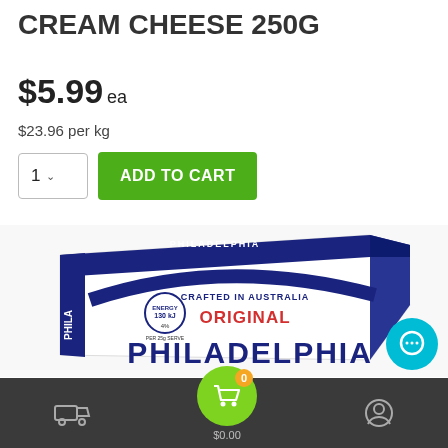CREAM CHEESE 250G
$5.99 ea
$23.96 per kg
1  ADD TO CART
[Figure (photo): Philadelphia Original Cream Cheese 250g product box, white and blue packaging, labeled 'Crafted in Australia', showing the front and side of the package.]